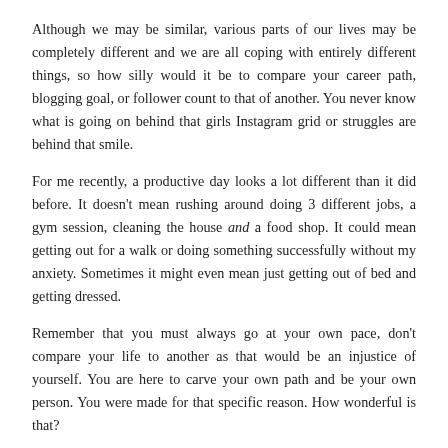Although we may be similar, various parts of our lives may be completely different and we are all coping with entirely different things, so how silly would it be to compare your career path, blogging goal, or follower count to that of another. You never know what is going on behind that girls Instagram grid or struggles are behind that smile.
For me recently, a productive day looks a lot different than it did before. It doesn't mean rushing around doing 3 different jobs, a gym session, cleaning the house and a food shop. It could mean getting out for a walk or doing something successfully without my anxiety. Sometimes it might even mean just getting out of bed and getting dressed.
Remember that you must always go at your own pace, don't compare your life to another as that would be an injustice of yourself. You are here to carve your own path and be your own person. You were made for that specific reason. How wonderful is that?
Remember that we are all on our own individual journey. Life isn't a competition with other people.
Go at your own pace…